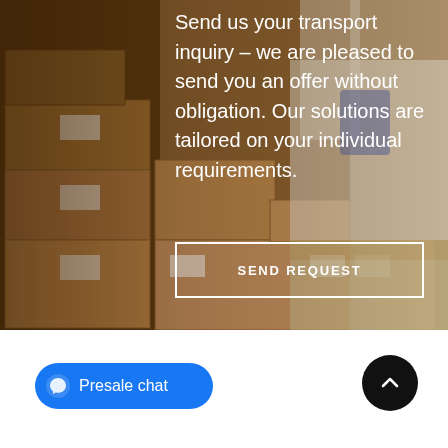[Figure (photo): Background image of a warehouse worker standing among stacked cardboard boxes, holding a tablet device. The image is used as a hero section background.]
Send us your transport inquiry – we are pleased to send you an offer without obligation. Our solutions are tailored on your individual requirements.
SEND REQUEST
Presale chat
[Figure (other): Scroll to top button — black circle with white upward chevron arrow]